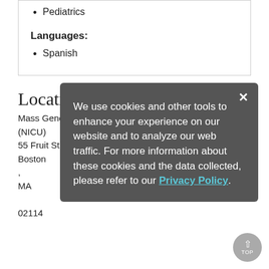Pediatrics
Languages:
Spanish
Locations
Mass General for Children: Neonatal Intensive Care Unit (NICU)
55 Fruit St
Boston
,
MA
02114
We use cookies and other tools to enhance your experience on our website and to analyze our web traffic. For more information about these cookies and the data collected, please refer to our Privacy Policy.